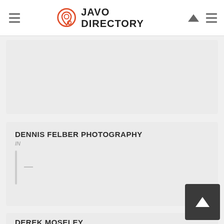JAVO DIRECTORY
[Figure (other): Partially visible listing card (top, content not readable)]
DENNIS FELBER PHOTOGRAPHY
IN
—
DEREK MOSELEY
IN